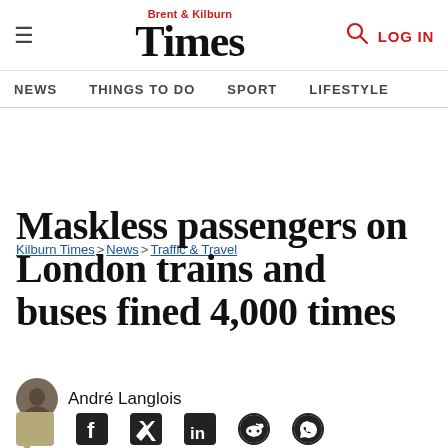Brent & Kilburn Times — NEWS  THINGS TO DO  SPORT  LIFESTYLE  LOG IN
Kilburn Times > News > Traffic & Travel
Maskless passengers on London trains and buses fined 4,000 times
André Langlois